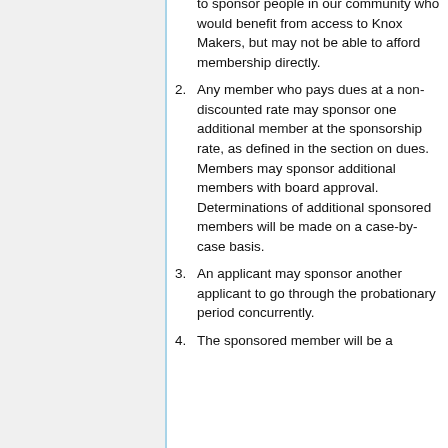to sponsor people in our community who would benefit from access to Knox Makers, but may not be able to afford membership directly.
Any member who pays dues at a non-discounted rate may sponsor one additional member at the sponsorship rate, as defined in the section on dues. Members may sponsor additional members with board approval. Determinations of additional sponsored members will be made on a case-by-case basis.
An applicant may sponsor another applicant to go through the probationary period concurrently.
The sponsored member will be a